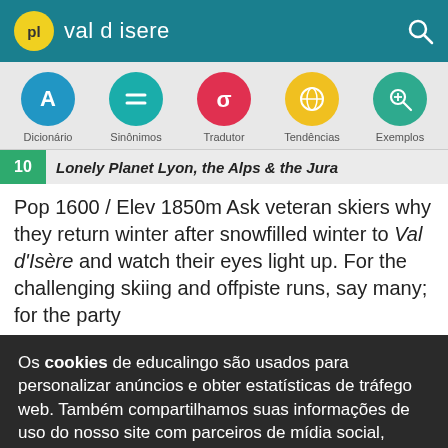val d isere
[Figure (screenshot): Navigation icon row with five colored circles: Dicionário (blue, A), Sinônimos (teal, equal sign), Tradutor (red, sigma), Tendências (yellow, globe), Exemplos (teal, magnifier)]
Dicionário  Sinônimos  Tradutor  Tendências  Exemplos
10  Lonely Planet Lyon, the Alps & the Jura
Pop 1600 / Elev 1850m Ask veteran skiers why they return winter after snowfilled winter to Val d'Isère and watch their eyes light up. For the challenging skiing and offpiste runs, say many; for the party
Os cookies de educalingo são usados para personalizar anúncios e obter estatísticas de tráfego web. Também compartilhamos suas informações de uso do nosso site com parceiros de mídia social, publicidade e análise.
Veja detalhes  Aceitar